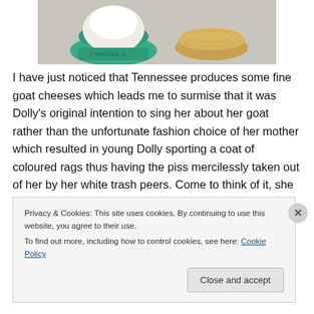[Figure (photo): Photo of goat cheese in a green paper wrapper and a cracker/biscuit on a grey surface]
I have just noticed that Tennessee produces some fine goat cheeses which leads me to surmise that it was Dolly's original intention to sing her about her goat rather than the unfortunate fashion choice of her mother which resulted in young Dolly sporting a coat of coloured rags thus having the piss mercilessly taken out of her by her white trash peers. Come to think of it, she might have had as much
Privacy & Cookies: This site uses cookies. By continuing to use this website, you agree to their use.
To find out more, including how to control cookies, see here: Cookie Policy